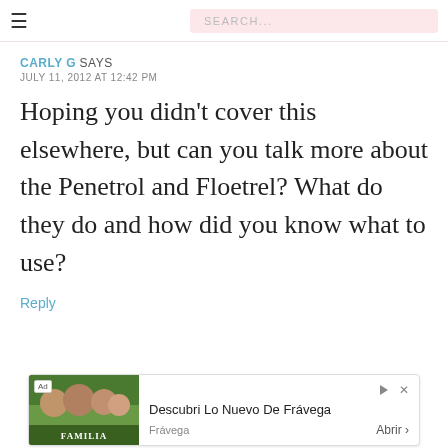≡  SEARCH...
CARLY G SAYS
JULY 11, 2012 AT 12:42 PM
Hoping you didn't cover this elsewhere, but can you talk more about the Penetrol and Floetrel? What do they do and how did you know what to use?
Reply
[Figure (other): Advertisement banner for Descubri Lo Nuevo De Frávega with a family photo and Frávega branding, with Abrir button]